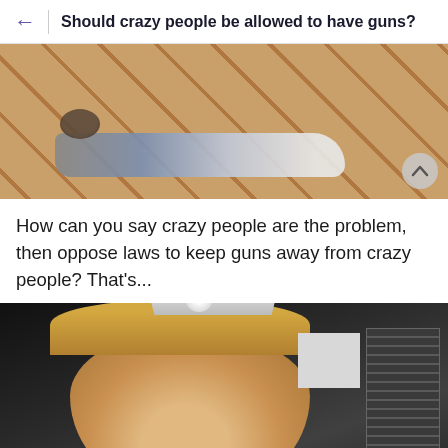Should crazy people be allowed to have guns?
[Figure (photo): Person lying on a parquet/herringbone wood tile floor, viewed from above, with a scroll-up button overlay in bottom right]
How can you say crazy people are the problem, then oppose laws to keep guns away from crazy people? That's...
[Figure (photo): Close-up of a woman wearing a decorative tiara/crown, with blonde hair, making an expression, holding a microphone, in what appears to be an office or studio setting with stacked items visible in background]